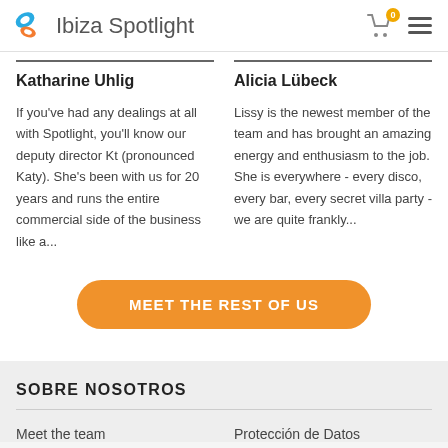Ibiza Spotlight
Katharine Uhlig
If you've had any dealings at all with Spotlight, you'll know our deputy director Kt (pronounced Katy). She's been with us for 20 years and runs the entire commercial side of the business like a...
Alicia Lübeck
Lissy is the newest member of the team and has brought an amazing energy and enthusiasm to the job. She is everywhere - every disco, every bar, every secret villa party - we are quite frankly...
MEET THE REST OF US
SOBRE NOSOTROS
Meet the team
Protección de Datos